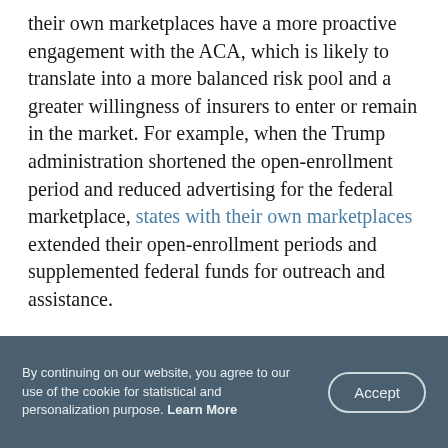their own marketplaces have a more proactive engagement with the ACA, which is likely to translate into a more balanced risk pool and a greater willingness of insurers to enter or remain in the market. For example, when the Trump administration shortened the open-enrollment period and reduced advertising for the federal marketplace, states with their own marketplaces extended their open-enrollment periods and supplemented federal funds for outreach and assistance.
Other factors may well be at play in this observed difference between states.1 But the consistently and increasingly lower premiums in state-based
By continuing on our website, you agree to our use of the cookie for statistical and personalization purpose. Learn More